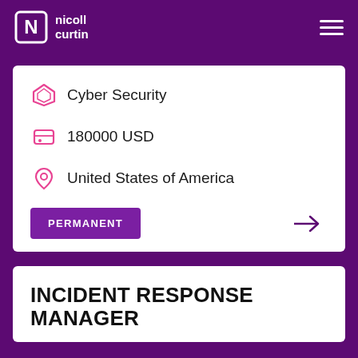nicoll curtin
Cyber Security
180000 USD
United States of America
PERMANENT
INCIDENT RESPONSE MANAGER